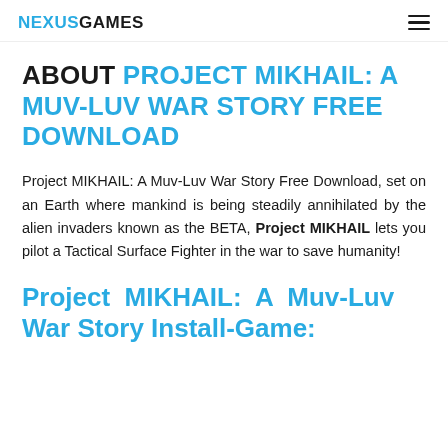NEXUSGAMES
ABOUT PROJECT MIKHAIL: A MUV-LUV WAR STORY FREE DOWNLOAD
Project MIKHAIL: A Muv-Luv War Story Free Download, set on an Earth where mankind is being steadily annihilated by the alien invaders known as the BETA, Project MIKHAIL lets you pilot a Tactical Surface Fighter in the war to save humanity!
Project MIKHAIL: A Muv-Luv War Story Install-Game: